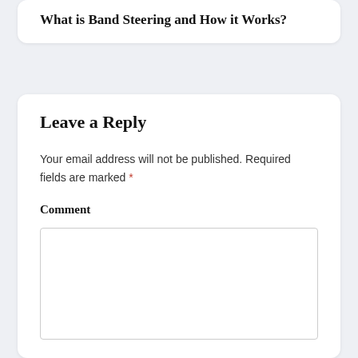What is Band Steering and How it Works?
Leave a Reply
Your email address will not be published. Required fields are marked *
Comment